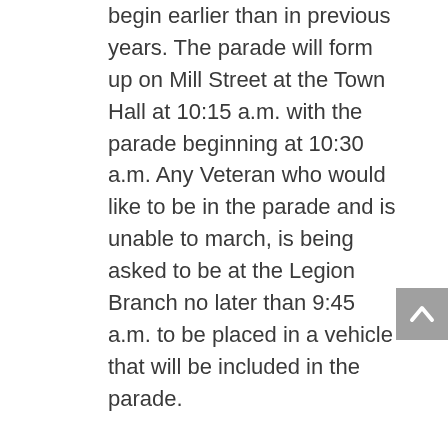begin earlier than in previous years. The parade will form up on Mill Street at the Town Hall at 10:15 a.m. with the parade beginning at 10:30 a.m. Any Veteran who would like to be in the parade and is unable to march, is being asked to be at the Legion Branch no later than 9:45 a.m. to be placed in a vehicle that will be included in the parade.
The ceremony at the Cenotaph will then begin at 10:45 a.m. in order to facilitate the first gun salute that will fire at 11:00 a.m. marking the 100th Centenary of Armistice. Zion Memorial United Church will be open prior to and during the ceremony for use of their washrooms and will be serving coffee or tea and water. Members of the local Carleton Place guiding group will be assisting.